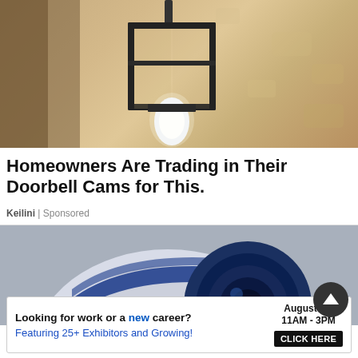[Figure (photo): Outdoor wall lamp with black metal frame and frosted bulb mounted on textured stucco wall]
Homeowners Are Trading in Their Doorbell Cams for This.
Keilini | Sponsored
[Figure (photo): Close-up of a white and blue outdoor security camera]
Looking for work or a new career? August 25, 11AM - 3PM Featuring 25+ Exhibitors and Growing! CLICK HERE